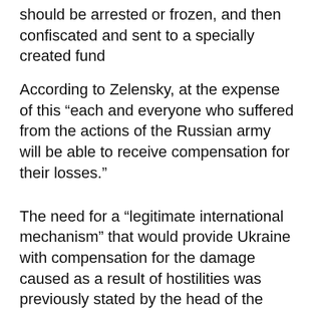should be arrested or frozen, and then confiscated and sent to a specially created fund
According to Zelensky, at the expense of this “each and everyone who suffered from the actions of the Russian army will be able to receive compensation for their losses.”
The need for a “legitimate international mechanism” that would provide Ukraine with compensation for the damage caused as a result of hostilities was previously stated by the head of the office of the Ukrainian president, Andriy Yermak. “Compensations can be both the mentioned special taxes and duties on Russian energy carriers and transactions, as well as state and private property. However, Russia’s foreign assets are protected by sovereign immunity, and the rights of the oligarchs— inviolability of private property,»,— he said.
In early May, Zelensky announced that $600 billion